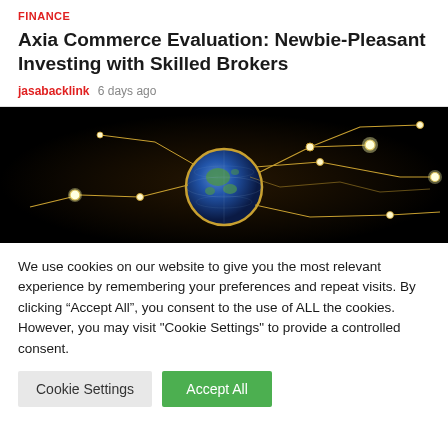FINANCE
Axia Commerce Evaluation: Newbie-Pleasant Investing with Skilled Brokers
jasabacklink  6 days ago
[Figure (illustration): Dark banner image showing a globe connected to glowing circuit board lines and nodes on a dark background]
We use cookies on our website to give you the most relevant experience by remembering your preferences and repeat visits. By clicking “Accept All”, you consent to the use of ALL the cookies. However, you may visit "Cookie Settings" to provide a controlled consent.